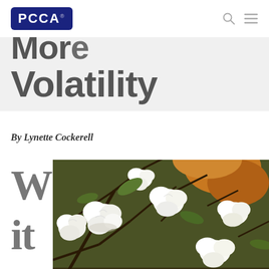PCCA
More Volatility
By Lynette Cockerell
With
[Figure (photo): Close-up photograph of cotton bolls on cotton plants, showing white fluffy cotton against dark branches and green leaves]